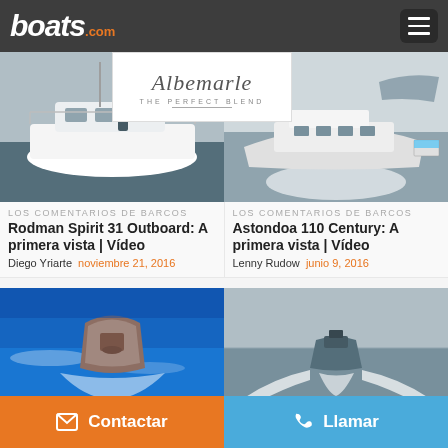boats.com
[Figure (photo): Rodman Spirit 31 Outboard sailboat/motorboat docked at marina with person standing on deck]
[Figure (logo): Albemarle boats logo advertisement banner]
[Figure (photo): Astondoa 110 Century luxury motor yacht underway at sea]
LOS COMENTARIOS DE BARCOS
Rodman Spirit 31 Outboard: A primera vista | Vídeo
Diego Yriarte  noviembre 21, 2016
LOS COMENTARIOS DE BARCOS
Astondoa 110 Century: A primera vista | Vídeo
Lenny Rudow  junio 9, 2016
[Figure (photo): Aerial view of a motorboat speeding through blue ocean water]
[Figure (photo): Rear view of a motorboat speeding away on grey ocean water]
Contactar
Llamar